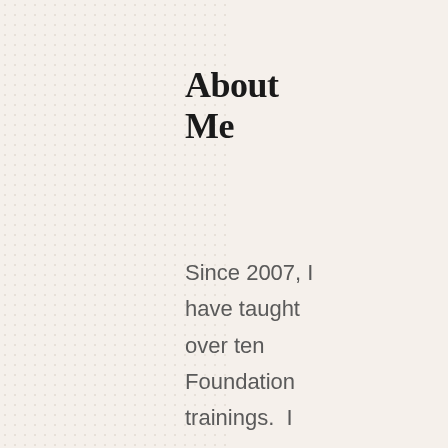About Me
Since 2007, I have taught over ten Foundation trainings.  I am an approved teacher with the Biodynamic Craniosacral Therapy